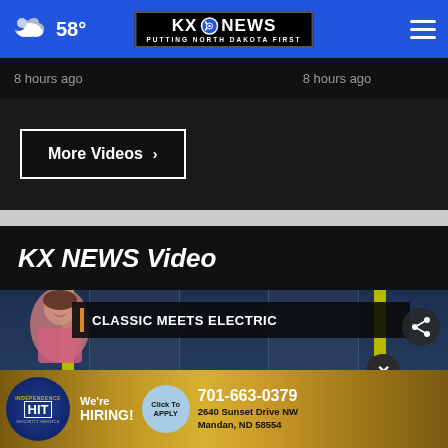58° KX NEWS - PUTTING NORTH DAKOTA FIRST
8 hours ago    8 hours ago
More Videos ›
KX NEWS Video
[Figure (screenshot): KX News video player showing a news broadcast with 'CLASSIC MEETS ELECTRIC' lower-third chyron, a female presenter visible at bottom left, a share icon at top right, and an advertisement banner at the bottom for Independence 'HIT' Security Service: We're Hiring! Click To Apply, 701-663-0379, 2640 Sunset Drive NW, Mandan, ND 58554]